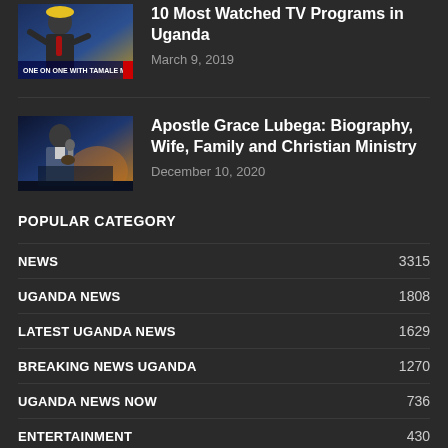[Figure (photo): Thumbnail image of a man on TV show: ONE ON ONE WITH TAMALE MIRUNDI]
10 Most Watched TV Programs in Uganda
March 9, 2019
[Figure (photo): Thumbnail image of Apostle Grace Lubega speaking at a podium with microphone]
Apostle Grace Lubega: Biography, Wife, Family and Christian Ministry
December 10, 2020
POPULAR CATEGORY
NEWS 3315
UGANDA NEWS 1808
LATEST UGANDA NEWS 1629
BREAKING NEWS UGANDA 1270
UGANDA NEWS NOW 736
ENTERTAINMENT 430
POLITICS 383